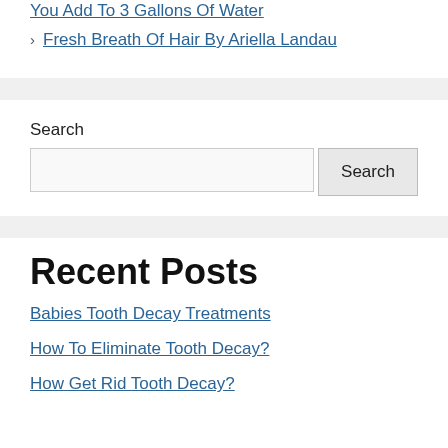You Add To 3 Gallons Of Water
Fresh Breath Of Hair By Ariella Landau
Search
Search (button)
Recent Posts
Babies Tooth Decay Treatments
How To Eliminate Tooth Decay?
How Get Rid Tooth Decay?